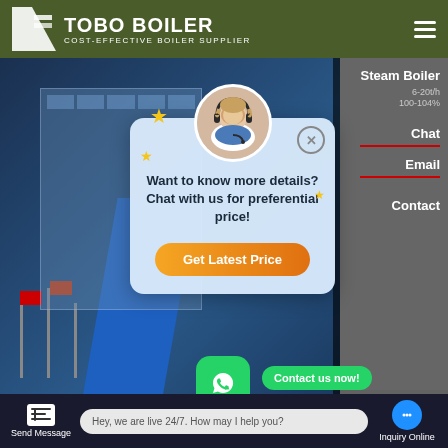TOBO BOILER — COST-EFFECTIVE BOILER SUPPLIER
[Figure (screenshot): Website screenshot of TOBO BOILER supplier page showing hero image with building and flags, right sidebar with Steam Boiler info, chat popup overlay with customer service agent, WhatsApp contact buttons, and bottom toolbar with Send Message and Inquiry Online options.]
Want to know more details? Chat with us for preferential price!
Get Latest Price
2 Ton Gas Boiler Manufacturers Be
Contact us now!
Contact us now!
Hey, we are live 24/7. How may I help you?
Send Message
Inquiry Online